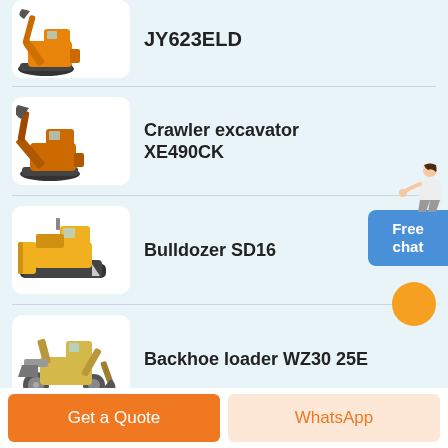[Figure (illustration): Partial product listing item showing JY623ELD crawler excavator with orange arm]
JY623ELD
[Figure (illustration): Crawler excavator XE490CK product image in white rounded box]
Crawler excavator XE490CK
[Figure (illustration): Bulldozer SD16 product image in white rounded box]
Bulldozer SD16
[Figure (illustration): Backhoe loader WZ30 25E product image in white rounded box]
Backhoe loader WZ30 25E